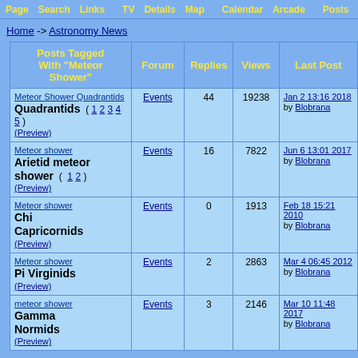Page  Search  Links  TV  Details  Map  Calendar Arcade  Posts
Home -> Astronomy News
| Posts Tagged With "Meteor Shower" | Forum | Replies | Views | Last Post |
| --- | --- | --- | --- | --- |
| Meteor Shower Quadrantids
Quadrantids ( 1 2 3 4 5 ) (Preview) | Events | 44 | 19238 | Jan 2 13:16 2018
by Blobrana |
| Meteor shower
Arietid meteor shower ( 1 2 ) (Preview) | Events | 16 | 7822 | Jun 6 13:01 2017
by Blobrana |
| Meteor shower
Chi Capricornids
(Preview) | Events | 0 | 1913 | Feb 18 15:21 2010
by Blobrana |
| Meteor shower
Pi Virginids
(Preview) | Events | 2 | 2863 | Mar 4 06:45 2012
by Blobrana |
| meteor shower
Gamma Normids
(Preview) | Events | 3 | 2146 | Mar 10 11:48 2017
by Blobrana |